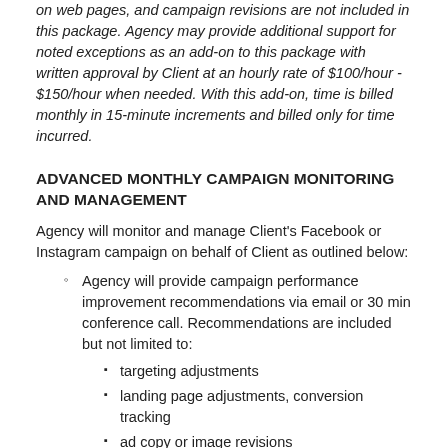on web pages, and campaign revisions are not included in this package. Agency may provide additional support for noted exceptions as an add-on to this package with written approval by Client at an hourly rate of $100/hour - $150/hour when needed. With this add-on, time is billed monthly in 15-minute increments and billed only for time incurred.
ADVANCED MONTHLY CAMPAIGN MONITORING AND MANAGEMENT
Agency will monitor and manage Client's Facebook or Instagram campaign on behalf of Client as outlined below:
Agency will provide campaign performance improvement recommendations via email or 30 min conference call. Recommendations are included but not limited to:
targeting adjustments
landing page adjustments, conversion tracking
ad copy or image revisions
offer or CTA recommendations
budget adjustments
Agency will provide campaign and ad revisions as